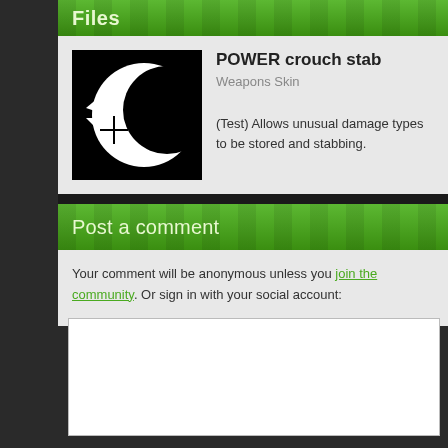Files
POWER crouch stab
Weapons Skin
(Test) Allows unusual damage types to be stored and stabbing.
Post a comment
Your comment will be anonymous unless you join the community. Or sign in with your social account: